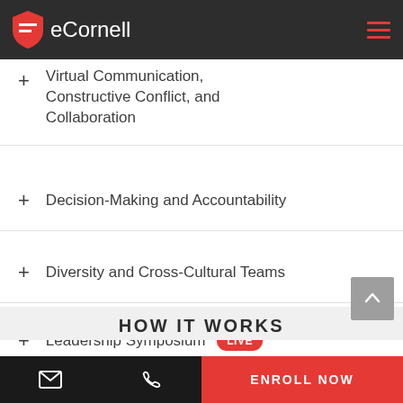eCornell
Virtual Communication, Constructive Conflict, and Collaboration
Decision-Making and Accountability
Diversity and Cross-Cultural Teams
Leadership Symposium LIVE
HOW IT WORKS
ENROLL NOW